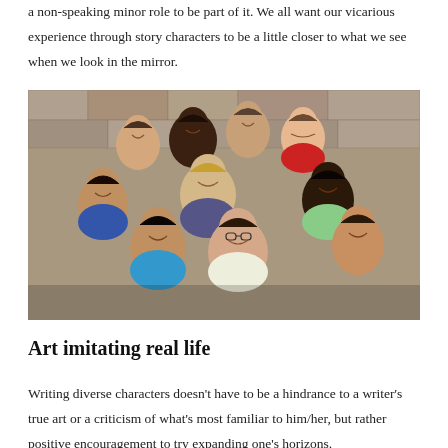a non-speaking minor role to be part of it. We all want our vicarious experience through story characters to be a little closer to what we see when we look in the mirror.
[Figure (photo): A diverse group of smiling young people huddled together closely, posing in front of a stone wall background.]
Art imitating real life
Writing diverse characters doesn't have to be a hindrance to a writer's true art or a criticism of what's most familiar to him/her, but rather positive encouragement to try expanding one's horizons.